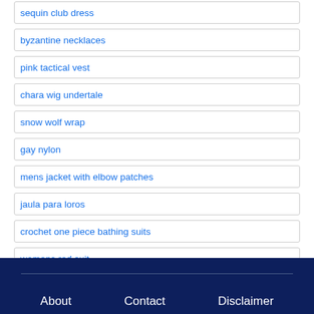sequin club dress
byzantine necklaces
pink tactical vest
chara wig undertale
snow wolf wrap
gay nylon
mens jacket with elbow patches
jaula para loros
crochet one piece bathing suits
womens red suit
About   Contact   Disclaimer